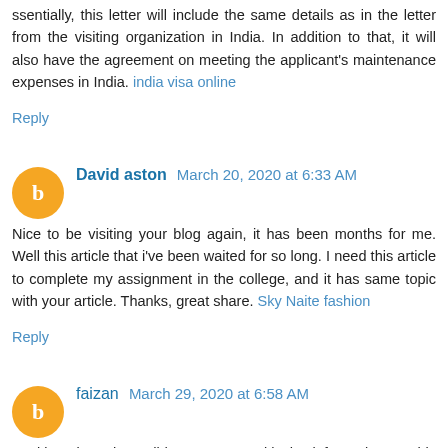ssentially, this letter will include the same details as in the letter from the visiting organization in India. In addition to that, it will also have the agreement on meeting the applicant's maintenance expenses in India. india visa online
Reply
David aston  March 20, 2020 at 6:33 AM
Nice to be visiting your blog again, it has been months for me. Well this article that i've been waited for so long. I need this article to complete my assignment in the college, and it has same topic with your article. Thanks, great share. Sky Naite fashion
Reply
faizan  March 29, 2020 at 6:58 AM
Positive site, where did u come up with the information on this posting?I have read a few of the articles on your website now, and I really like your style. Thanks a million